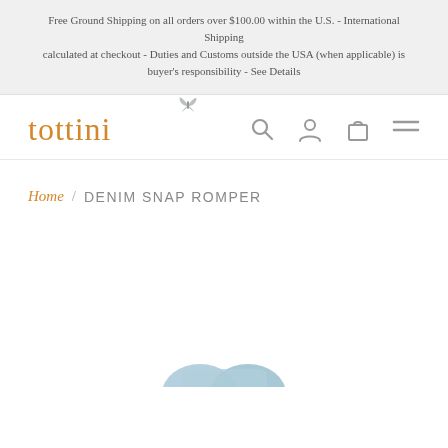Free Ground Shipping on all orders over $100.00 within the U.S. - International Shipping calculated at checkout - Duties and Customs outside the USA (when applicable) is buyer's responsibility - See Details
[Figure (logo): Tottini logo: orange serif text 'tottini' with a small butterfly icon above the letter 'i', and navigation icons (search, user, bag, menu) on the right]
Home / DENIM SNAP ROMPER
[Figure (photo): Partial view of a light blue denim snap romper product photo, cropped at bottom of page]